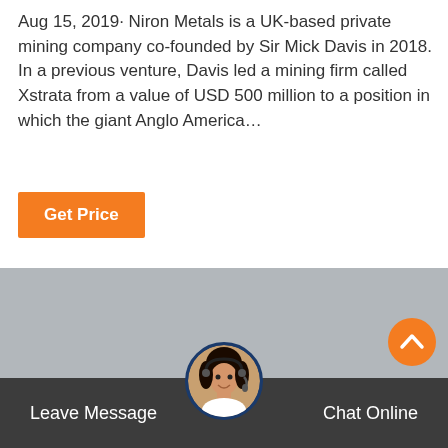Aug 15, 2019· Niron Metals is a UK-based private mining company co-founded by Sir Mick Davis in 2018. In a previous venture, Davis led a mining firm called Xstrata from a value of USD 500 million to a position in which the giant Anglo America…
[Figure (other): Orange 'Get Price' button]
[Figure (photo): Gray placeholder image area]
[Figure (other): Orange scroll-to-top circular button with upward chevron]
Leave Message   Chat Online